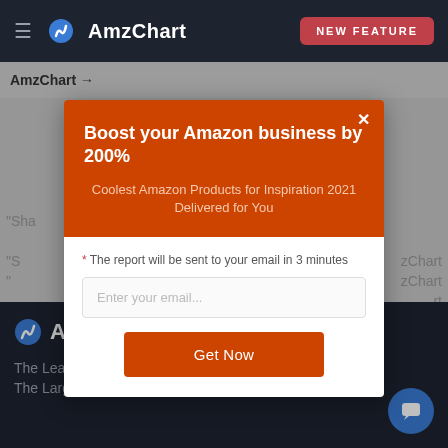≡ AmzChart  NEW FEATURE
AmzChart →
[Figure (screenshot): AmzChart website screenshot with modal popup overlay showing 'Boost your Amazon business by 200%' promotion dialog]
Boost your Amazon business by 200%
Coolest Amazon Products for Inspiration 2021 Delivered for You
* The report will be sent to your email in 3 minutes
Enter your email...
Get Now
AmzChart — The Leading Amazon Analysis Tool — The Largest Ecom Intelligence Database